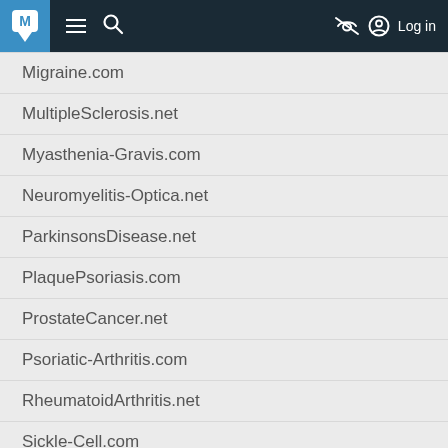M [logo] [menu] [search] [hide] Log in
Migraine.com
MultipleSclerosis.net
Myasthenia-Gravis.com
Neuromyelitis-Optica.net
ParkinsonsDisease.net
PlaquePsoriasis.com
ProstateCancer.net
Psoriatic-Arthritis.com
RheumatoidArthritis.net
Sickle-Cell.com
SkinCancer.net
Sleep-Disorders.net